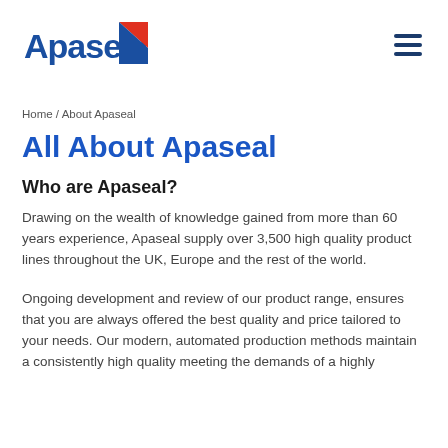Apaseal logo and navigation menu
Home / About Apaseal
All About Apaseal
Who are Apaseal?
Drawing on the wealth of knowledge gained from more than 60 years experience, Apaseal supply over 3,500 high quality product lines throughout the UK, Europe and the rest of the world.
Ongoing development and review of our product range, ensures that you are always offered the best quality and price tailored to your needs. Our modern, automated production methods maintain a consistently high quality meeting the demands of a highly